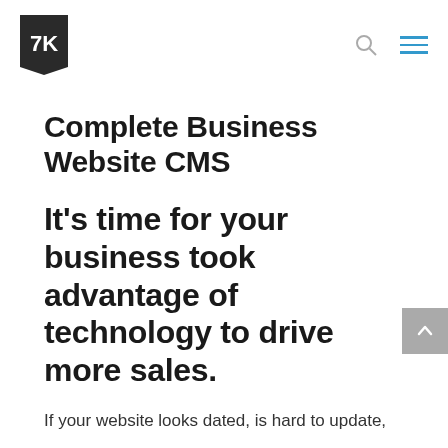7K [logo] [search icon] [menu icon]
Complete Business Website CMS
It's time for your business took advantage of technology to drive more sales.
If your website looks dated, is hard to update,